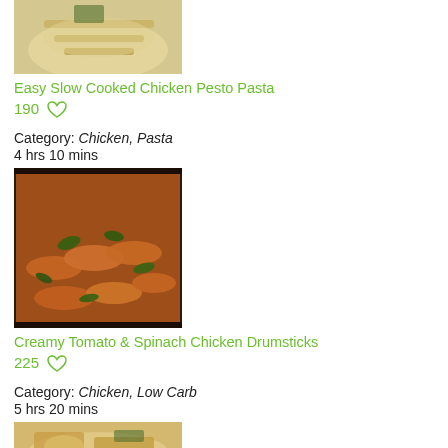[Figure (photo): Photo of Easy Slow Cooked Chicken Pesto Pasta dish - creamy pasta in a bowl]
Easy Slow Cooked Chicken Pesto Pasta
190 ♡
Category: Chicken, Pasta
4 hrs 10 mins
[Figure (photo): Photo of Creamy Tomato & Spinach Chicken Drumsticks - orange/red sauced drumsticks with spinach]
Creamy Tomato & Spinach Chicken Drumsticks
225 ♡
Category: Chicken, Low Carb
5 hrs 20 mins
[Figure (photo): Partial photo of another recipe at the bottom of the page]